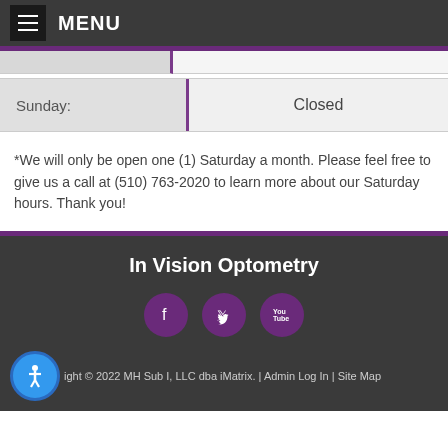MENU
| Day | Hours |
| --- | --- |
| Sunday: | Closed |
*We will only be open one (1) Saturday a month. Please feel free to give us a call at (510) 763-2020 to learn more about our Saturday hours. Thank you!
In Vision Optometry
Copyright © 2022 MH Sub I, LLC dba iMatrix. | Admin Log In | Site Map